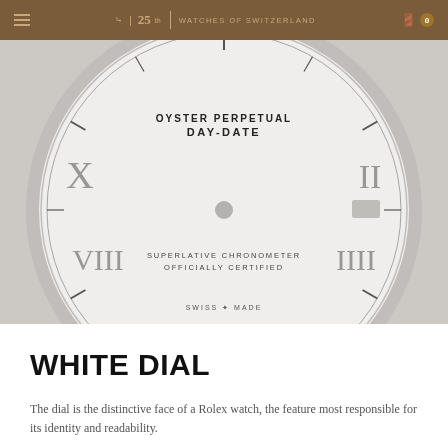Watches of Switzerland — navigation bar with hamburger menu, logo, and cart
[Figure (photo): Close-up of a Rolex Oyster Perpetual Day-Date white dial with Roman numerals, showing 'OYSTER PERPETUAL DAY-DATE' at the top, 'SUPERLATIVE CHRONOMETER OFFICIALLY CERTIFIED' in the centre, and 'SWISS MADE' at the bottom. The dial has a circular bezel with applied hour markers and silver Roman numeral indices.]
WHITE DIAL
The dial is the distinctive face of a Rolex watch, the feature most responsible for its identity and readability.